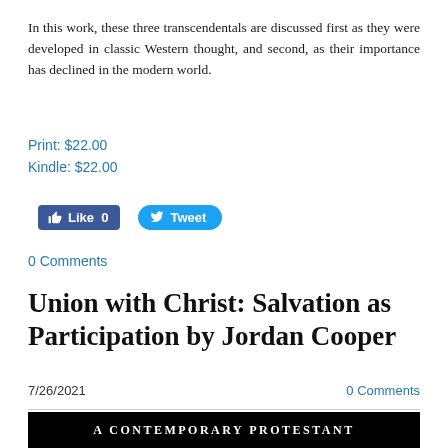In this work, these three transcendentals are discussed first as they were developed in classic Western thought, and second, as their importance has declined in the modern world.
Print: $22.00
Kindle: $22.00
[Figure (screenshot): Social media buttons: Facebook Like (0) and Twitter Tweet]
0 Comments
Union with Christ: Salvation as Participation by Jordan Cooper
7/26/2021   0 Comments
[Figure (screenshot): Black banner with white text reading A CONTEMPORARY PROTESTANT]